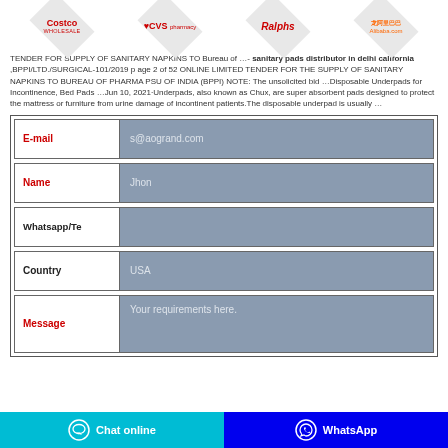[Figure (logo): Four retailer logos in diamond shapes: Costco Wholesale, CVS pharmacy, Ralphs, Alibaba.com]
TENDER FOR SUPPLY OF SANITARY NAPKINS TO Bureau of …- sanitary pads distributor in delhi california ,BPPI/LTD./SURGICAL-101/2019 p age 2 of 52 ONLINE LIMITED TENDER FOR THE SUPPLY OF SANITARY NAPKINS TO BUREAU OF PHARMA PSU OF INDIA (BPPI) NOTE: The unsolicited bid …Disposable Underpads for Incontinence, Bed Pads …Jun 10, 2021·Underpads, also known as Chux, are super absorbent pads designed to protect the mattress or furniture from urine damage of incontinent patients.The disposable underpad is usually …
| Field | Value |
| --- | --- |
| E-mail | s@aogrand.com |
| Name | Jhon |
| Whatsapp/Te |  |
| Country | USA |
| Message | Your requirements here. |
Chat online   WhatsApp